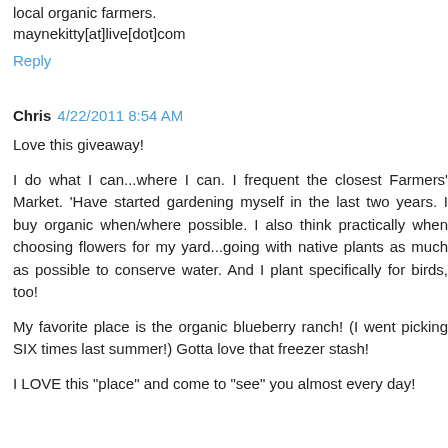local organic farmers. maynekitty[at]live[dot]com
Reply
Chris  4/22/2011 8:54 AM
Love this giveaway!
I do what I can...where I can. I frequent the closest Farmers' Market. 'Have started gardening myself in the last two years. I buy organic when/where possible. I also think practically when choosing flowers for my yard...going with native plants as much as possible to conserve water. And I plant specifically for birds, too!
My favorite place is the organic blueberry ranch! (I went picking SIX times last summer!) Gotta love that freezer stash!
I LOVE this "place" and come to "see" you almost every day!